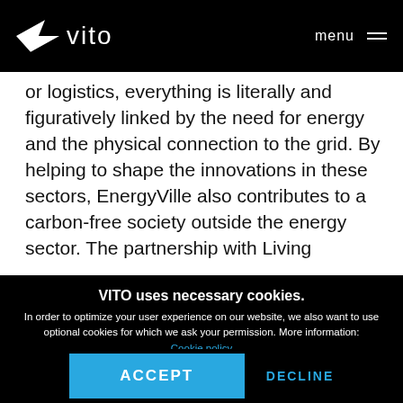vito | menu
or logistics, everything is literally and figuratively linked by the need for energy and the physical connection to the grid. By helping to shape the innovations in these sectors, EnergyVille also contributes to a carbon-free society outside the energy sector. The partnership with Living
VITO uses necessary cookies.
In order to optimize your user experience on our website, we also want to use optional cookies for which we ask your permission. More information:
Cookie policy
Privacy policy
ACCEPT   DECLINE